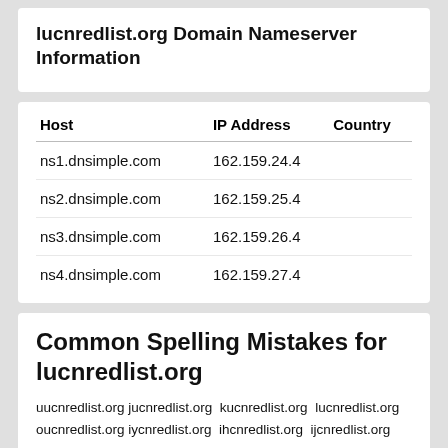lucnredlist.org Domain Nameserver Information
| Host | IP Address | Country |
| --- | --- | --- |
| ns1.dnsimple.com | 162.159.24.4 |  |
| ns2.dnsimple.com | 162.159.25.4 |  |
| ns3.dnsimple.com | 162.159.26.4 |  |
| ns4.dnsimple.com | 162.159.27.4 |  |
Common Spelling Mistakes for lucnredlist.org
uucnredlist.org jucnredlist.org kucnredlist.org lucnredlist.org oucnredlist.org iycnredlist.org ihcnredlist.org ijcnredlist.org ikcnredlist.org iicnredlist.org iuxnredlist.org iusnredlist.org iudnredlist.org iufnredlist.org iuvnredlist.org iubnredlist.org